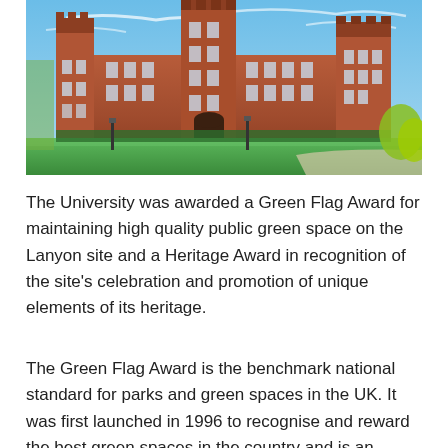[Figure (photo): Photograph of a large red-brick Gothic Revival university building (Lanyon Building, Queen's University Belfast) with a green lawn in the foreground and a blue sky with wispy clouds above.]
The University was awarded a Green Flag Award for maintaining high quality public green space on the Lanyon site and a Heritage Award in recognition of the site's celebration and promotion of unique elements of its heritage.
The Green Flag Award is the benchmark national standard for parks and green spaces in the UK. It was first launched in 1996 to recognise and reward the best green spaces in the country and is an